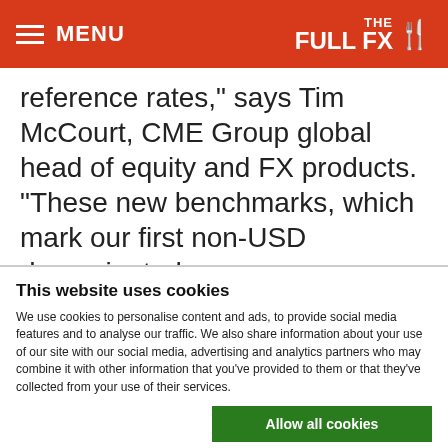MENU | THE FULL FX
reference rates," says Tim McCourt, CME Group global head of equity and FX products. “These new benchmarks, which mark our first non-USD denominated
This website uses cookies
We use cookies to personalise content and ads, to provide social media features and to analyse our traffic. We also share information about your use of our site with our social media, advertising and analytics partners who may combine it with other information that you’ve provided to them or that they’ve collected from your use of their services.
Allow all cookies
Allow selection
Use necessary cookies only
Necessary  Preferences  Statistics  Marketing  Show details